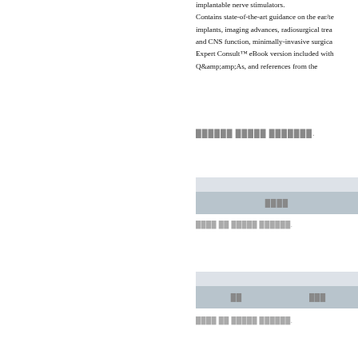implantable nerve stimulators. Contains state-of-the-art guidance on the ear/te implants, imaging advances, radiosurgical trea and CNS function, minimally-invasive surgica Expert Consult™ eBook version included with Q&amp;amp;amp;As, and references from the
██████ █████ ███████.
[Figure (screenshot): UI button bar with header and redacted button label]
████ ██ █████ ██████.
[Figure (screenshot): UI button bar with two columns: redacted labels for two options]
████ ██ █████ ██████.